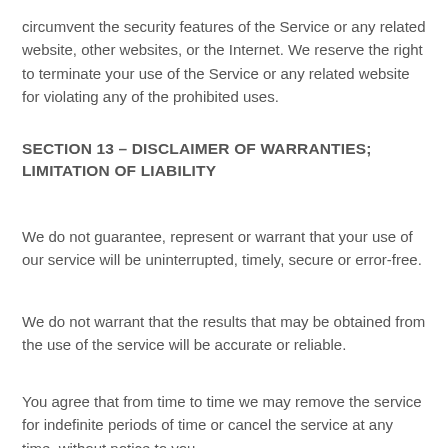circumvent the security features of the Service or any related website, other websites, or the Internet. We reserve the right to terminate your use of the Service or any related website for violating any of the prohibited uses.
SECTION 13 – DISCLAIMER OF WARRANTIES; LIMITATION OF LIABILITY
We do not guarantee, represent or warrant that your use of our service will be uninterrupted, timely, secure or error-free.
We do not warrant that the results that may be obtained from the use of the service will be accurate or reliable.
You agree that from time to time we may remove the service for indefinite periods of time or cancel the service at any time, without notice to you.